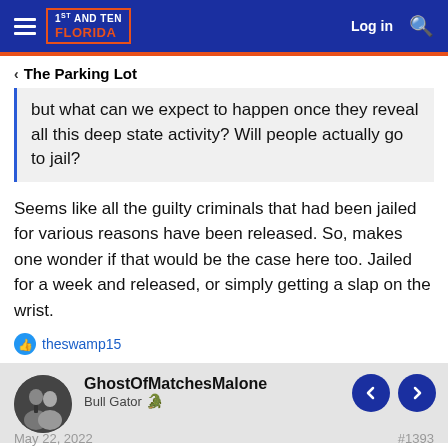1ST AND TEN FLORIDA — Log in
< The Parking Lot
but what can we expect to happen once they reveal all this deep state activity? Will people actually go to jail?
Seems like all the guilty criminals that had been jailed for various reasons have been released. So, makes one wonder if that would be the case here too. Jailed for a week and released, or simply getting a slap on the wrist.
theswamp15
GhostOfMatchesMalone
Bull Gator
May 22, 2022